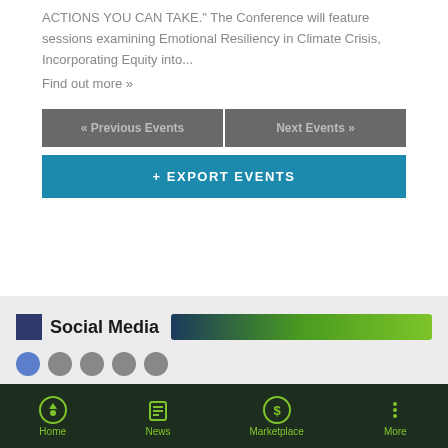ACTIONS YOU CAN TAKE." The Conference will feature sessions examining Emotional Resiliency in Climate Crisis, Incorporating Equity into...
Find out more »
« Previous Events
Next Events »
+ EXPORT EVENTS
Social Media
Home  News  Marketplace  More